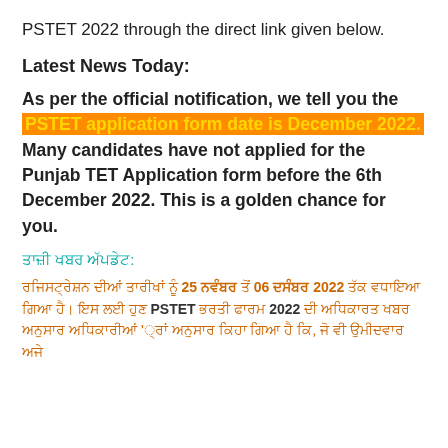PSTET 2022 through the direct link given below.
Latest News Today:
As per the official notification, we tell you the PSTET application form date is December 2022. Many candidates have not applied for the Punjab TET Application form before the 6th December 2022. This is a golden chance for you.
ਤਾਜ਼ੀ ਖਬਰ ਅੱਪਡੇਟ:
ਰਜਿਸਟ੍ਰੇਸ਼ਨ ਦੀਆਂ ਤਾਰੀਖਾਂ ਨੂੰ 25 ਨਵੰਬਰ ਤੋਂ 06 ਦਸੰਬਰ 2022 ਤੱਕ ਵਧਾਇਆ ਗਿਆ ਹੈ। PSTET ਭਰਤੀ ਫਾਰਮ 2022 ਦੀ ਅਧਿਕਾਰਤ ਖਬਰ ਅਨੁਸਾਰ ਅਧਿਕਾਰੀਆਂ '...